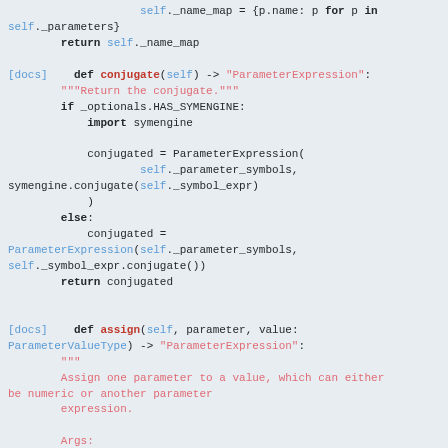self._name_map = {p.name: p for p in self._parameters}
        return self._name_map

[docs]    def conjugate(self) -> "ParameterExpression":
        """Return the conjugate."""
        if _optionals.HAS_SYMENGINE:
            import symengine

            conjugated = ParameterExpression(
                self._parameter_symbols,
                symengine.conjugate(self._symbol_expr)
            )
        else:
            conjugated =
ParameterExpression(self._parameter_symbols,
self._symbol_expr.conjugate())
        return conjugated


[docs]    def assign(self, parameter, value:
ParameterValueType) -> "ParameterExpression":
        """
        Assign one parameter to a value, which can either be numeric or another parameter
        expression.

        Args:
            parameter (Parameter): A parameter in this expression whose value will be updated.
            value: The new value to bind to.

        Returns:
            A new expression parameterized by any
[Figure (screenshot): Python source code snippet showing methods of a class: conjugate() and assign(), with syntax highlighting in monospace font on a light blue-gray background.]